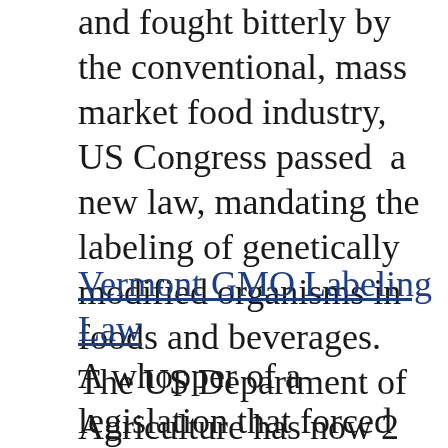and fought bitterly by the conventional, mass market food industry, US Congress passed  a new law, mandating the labeling of genetically modified organisms in foods and beverages. The US Department of Agriculture has now 2 years to issue final regulations..
Vermont GMO Labeling Law
A whopper of a legislation that forced all food and beverage manufacturers selling their products in Vermont to